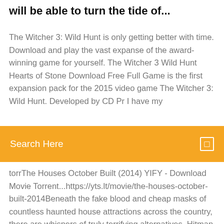will be able to turn the tide of...
The Witcher 3: Wild Hunt is only getting better with time. Download and play the vast expanse of the award-winning game for yourself. The Witcher 3 Wild Hunt Hearts of Stone Download Free Full Game is the first expansion pack for the 2015 video game The Witcher 3: Wild Hunt. Developed by CD Pr I have my
Search Here
torrThe Houses October Built (2014) YIFY - Download Movie Torrent...https://yts.lt/movie/the-houses-october-built-2014Beneath the fake blood and cheap masks of countless haunted house attractions across the country, there are whispers of truly terrifying alternatives. Hitman 2 could be a hiding game developed by IO Interactive and developed by Warner Bros. Interactive diversion for Microsoft Windows, PlayStation 4 Wolfenstein: Cyberpilot is a Wolfenstein VR game. The game is set 20 years after the events of The New